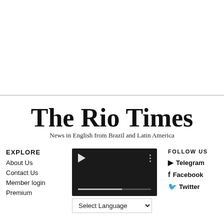The Rio Times
News in English from Brazil and Latin America
EXPLORE
About Us
Contact Us
Member login
Premium
[Figure (screenshot): Video player with play button and progress bar on dark background, with a language selector dropdown below reading 'Select Language']
FOLLOW US
Telegram
Facebook
Twitter